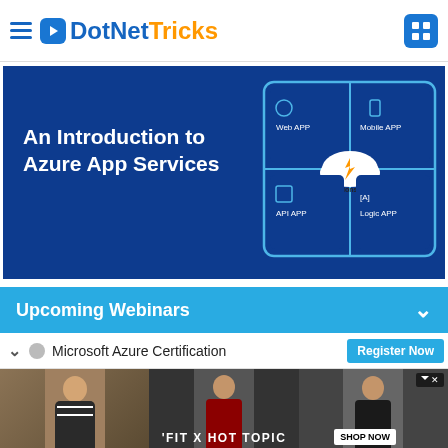DotNetTricks
[Figure (screenshot): Azure App Services banner with dark blue background. Title reads 'An Introduction to Azure App Services'. Right side shows a diagram with 4 boxes (Web APP, Mobile APP, API APP, Logic APP) surrounding a cloud icon labeled Functions.]
An Introduction to Azure App Services
Upcoming Webinars
Microsoft Azure Certification
[Figure (photo): Advertisement banner for 'FIT X HOT TOPIC' showing three young people. Has a 'SHOP NOW' button and close (X) button.]